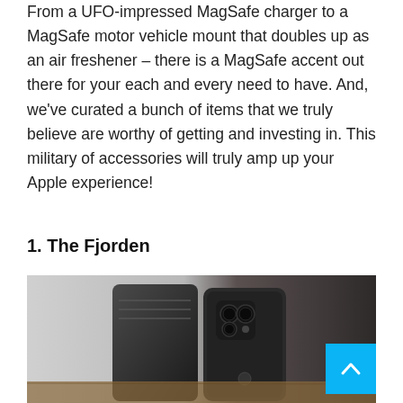From a UFO-impressed MagSafe charger to a MagSafe motor vehicle mount that doubles up as an air freshener – there is a MagSafe accent out there for your each and every need to have. And, we've curated a bunch of items that we truly believe are worthy of getting and investing in. This military of accessories will truly amp up your Apple experience!
1. The Fjorden
[Figure (photo): Photo of black iPhone case (The Fjorden) showing the back of a folded wallet-style phone case with the camera cutout visible, placed on a wooden surface with a blurred background.]